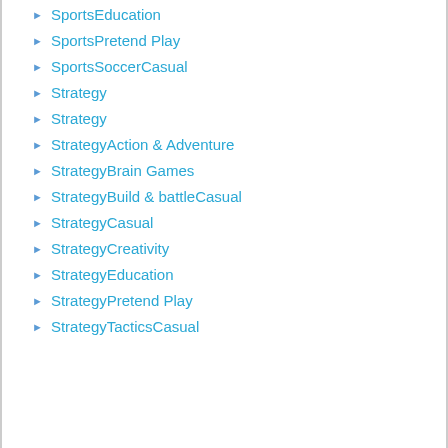SportsEducation
SportsPretend Play
SportsSoccerCasual
Strategy
Strategy
StrategyAction & Adventure
StrategyBrain Games
StrategyBuild & battleCasual
StrategyCasual
StrategyCreativity
StrategyEducation
StrategyPretend Play
StrategyTacticsCasual